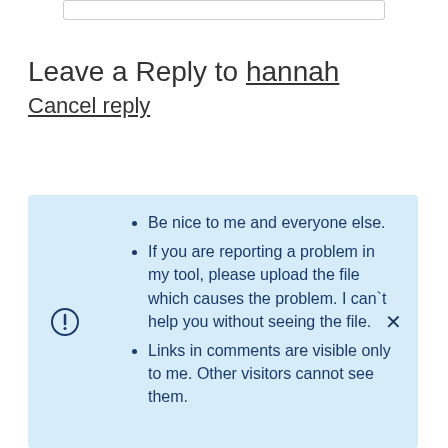Leave a Reply to hannah
Cancel reply
Be nice to me and everyone else.
If you are reporting a problem in my tool, please upload the file which causes the problem. I can't help you without seeing the file.
Links in comments are visible only to me. Other visitors cannot see them.